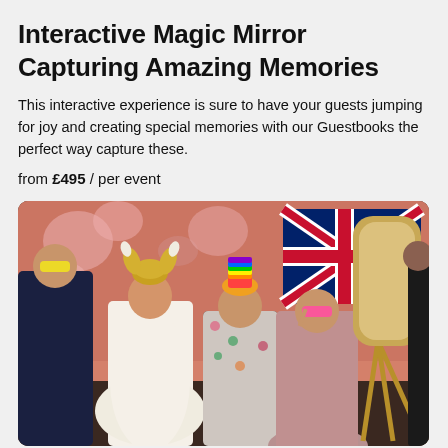Interactive Magic Mirror Capturing Amazing Memories
This interactive experience is sure to have your guests jumping for joy and creating special memories with our Guestbooks the perfect way capture these.
from £495 / per event
[Figure (photo): Group photo of women in formal dresses posing with fun props (Viking helmet, rainbow hat, yellow and pink sunglasses) in front of a backdrop with flowers and a Union Jack flag. A magic mirror on an easel is visible on the right side.]